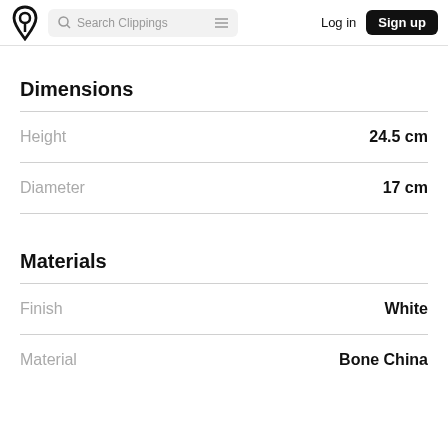Search Clippings | Log in | Sign up
Dimensions
Height	24.5 cm
Diameter	17 cm
Materials
Finish	White
Material	Bone China